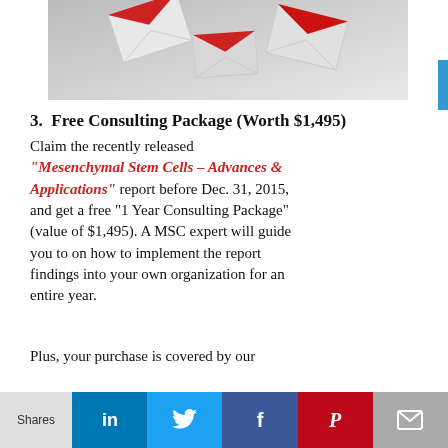[Figure (photo): Scattered white and red envelopes flying through the air against a light grey background]
3. Free Consulting Package (Worth $1,495)
Claim the recently released “Mesenchymal Stem Cells – Advances & Applications” report before Dec. 31, 2015, and get a free “1 Year Consulting Package” (value of $1,495). A MSC expert will guide you to on how to implement the report findings into your own organization for an entire year.
Plus, your purchase is covered by our